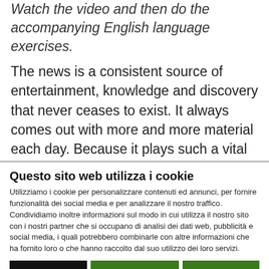Watch the video and then do the accompanying English language exercises.
The news is a consistent source of entertainment, knowledge and discovery that never ceases to exist. It always comes out with more and more material each day. Because it plays such a vital part in our lives and is so important to keep up with, it is without a doubt a piece of your everyday routine that can't go
Questo sito web utilizza i cookie
Utilizziamo i cookie per personalizzare contenuti ed annunci, per fornire funzionalità dei social media e per analizzare il nostro traffico. Condividiamo inoltre informazioni sul modo in cui utilizza il nostro sito con i nostri partner che si occupano di analisi dei dati web, pubblicità e social media, i quali potrebbero combinarle con altre informazioni che ha fornito loro o che hanno raccolto dal suo utilizzo dei loro servizi.
Rifiuta | Accetta selezionati | Accetta tutti
Necessari  Preferenze  Statistiche  Marketing  Mostra dettagli